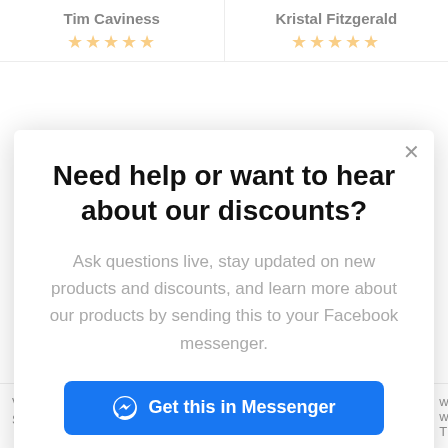Tim Caviness
★★★★★
Kristal Fitzgerald
★★★★★
Need help or want to hear about our discounts?
Ask questions live, stay updated on new products and discounts, and learn more about our products by sending this to your Facebook messenger.
Get this in Messenger
volt light really shines. Suspended it down 4 feet
Call
Text
Email
water with it. Thanks